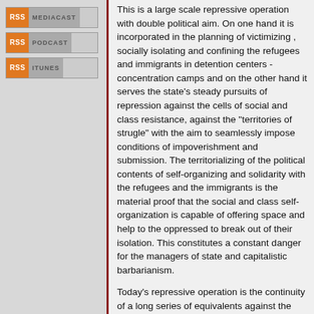[Figure (other): RSS Mediacast button - orange RSS label with grey Mediacast text]
[Figure (other): RSS Podcast button - orange RSS label with grey Podcast text]
[Figure (other): RSS iTunes button - orange RSS label with grey iTunes text]
This is a large scale repressive operation with double political aim. On one hand it is incorporated in the planning of victimizing , socially isolating and confining the refugees and immigrants in detention centers - concentration camps and on the other hand it serves the state's steady pursuits of repression against the cells of social and class resistance, against the "territories of strugle" with the aim to seamlessly impose conditions of impoverishment and submission. The territorializing of the political contents of self-organizing and solidarity with the refugees and the immigrants is the material proof that the social and class self-organization is capable of offering space and help to the oppressed to break out of their isolation. This constitutes a constant danger for the managers of state and capitalistic barbarianism.
Today's repressive operation is the continuity of a long series of equivalents against the "non-certified" solidaries, against those who struggle to overthrow the conditions which lead to impoverishment and death and are not a part of the efforts to beautify the image